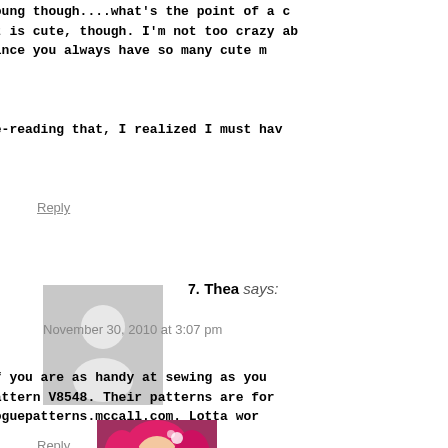Young though...what's the point of a... It is cute, though. I'm not too crazy ab... since you always have so many cute m...
Re-reading that, I realized I must hav...
Reply
7. Thea says:
November 30, 2010 at 3:07 pm
If you are as handy at sewing as you... pattern V8548. Their patterns are for... voguepatterns.mccall.com. Lotta wor...
Reply
[Figure (photo): Person with pink/red hair wearing glasses, cropped avatar photo]